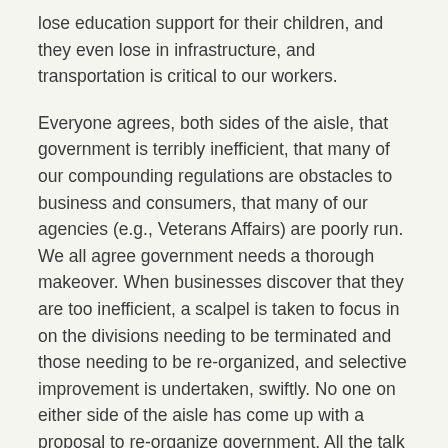lose education support for their children, and they even lose in infrastructure, and transportation is critical to our workers.
Everyone agrees, both sides of the aisle, that government is terribly inefficient, that many of our compounding regulations are obstacles to business and consumers, that many of our agencies (e.g., Veterans Affairs) are poorly run. We all agree government needs a thorough makeover. When businesses discover that they are too inefficient, a scalpel is taken to focus in on the divisions needing to be terminated and those needing to be re-organized, and selective improvement is undertaken, swiftly. No one on either side of the aisle has come up with a proposal to re-organize government. All the talk from the right is simply to reduce government. Reich explains in detail why that won't help.
So, consider that the wealthiest 400 in the US have more